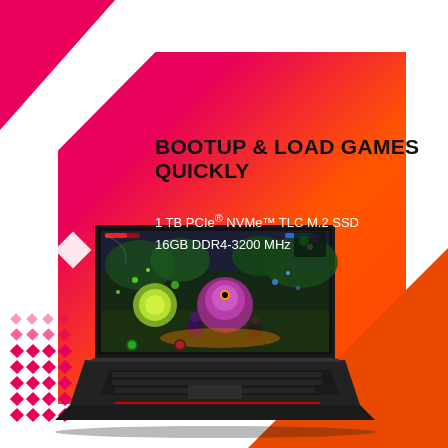[Figure (infographic): Gaming laptop product advertisement with pink-to-orange gradient geometric background (hexagon and triangle shapes), red dot grid in bottom-left corner, white diamond accent, and a black gaming laptop showing a fantasy game on screen]
BOOTUP & LOAD GAMES QUICKLY
1 TB PCIe® NVMe™ TLC M.2 SSD
16GB DDR4-3200 MHz